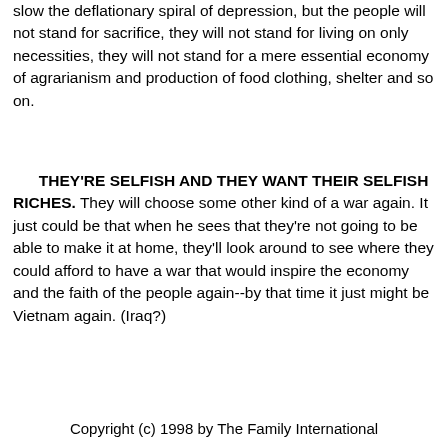slow the deflationary spiral of depression, but the people will not stand for sacrifice, they will not stand for living on only necessities, they will not stand for a mere essential economy of agrarianism and production of food clothing, shelter and so on.
THEY'RE SELFISH AND THEY WANT THEIR SELFISH RICHES. They will choose some other kind of a war again. It just could be that when he sees that they're not going to be able to make it at home, they'll look around to see where they could afford to have a war that would inspire the economy and the faith of the people again--by that time it just might be Vietnam again. (Iraq?)
Copyright (c) 1998 by The Family International